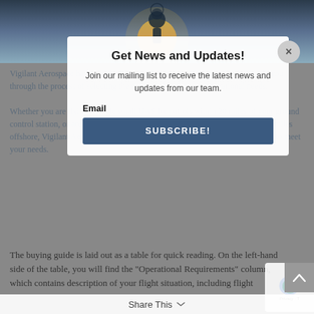[Figure (screenshot): Background website page showing a drone/UAS image at top and article text about Vigilant Aerospace FlightHorizon Buying Guide, partially obscured by a modal overlay]
Get News and Updates!
Join our mailing list to receive the latest news and updates from our team.
Email
SUBSCRIBE!
The buying guide is laid out as a table for quick reading. On the left-hand side of the table, you will find the “Operational Requirements” column, which contains description of your flight situation, including flight
Share This